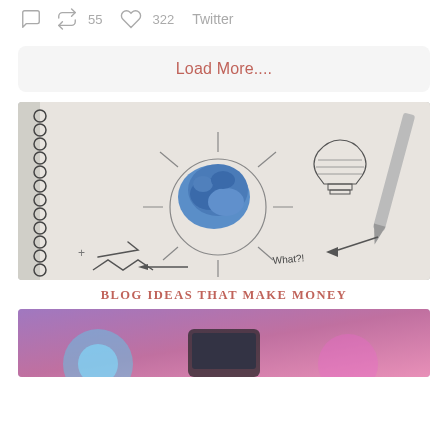55  322  Twitter
Load More....
[Figure (photo): Photo of a crumpled blue paper ball sitting on a hand-drawn lightbulb sketch in a spiral notebook, with a pen visible, and notes 'What?!' and arrows drawn around]
BLOG IDEAS THAT MAKE MONEY
[Figure (photo): Partial bottom image with purple/pink gradient background, beginning of another blog post image]